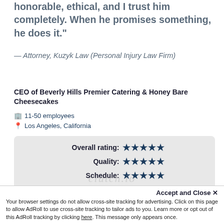honorable, ethical, and I trust him completely. When he promises something, he does it."
— Attorney, Kuzyk Law (Personal Injury Law Firm)
CEO of Beverly Hills Premier Catering & Honey Bare Cheesecakes
11-50 employees
Los Angeles, California
| Category | Rating |
| --- | --- |
| Overall rating: | ★★★★★ |
| Quality: | ★★★★★ |
| Schedule: | ★★★★★ |
| Cost: | ★★★★★ |
Accept and Close ✕
Your browser settings do not allow cross-site tracking for advertising. Click on this page to allow AdRoll to use cross-site tracking to tailor ads to you. Learn more or opt out of this AdRoll tracking by clicking here. This message only appears once.